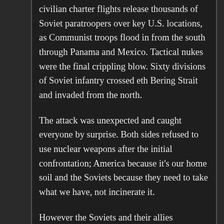civilian charter flights release thousands of Soviet paratroopers over key U.S. locations, as Communist troops flood in from the south through Panama and Mexico. Tactical nukes were the final crippling blow. Sixty divisions of Soviet infantry crossed eth Bering Strait and invaded from the north.
The attack was unexpected and caught everyone by surprise. Both sides refused to use nuclear weapons after the initial confrontation; America because it's our home soil and the Soviets because they need to take what we have, not incinerate it.
However the Soviets and their allies underestimated the will and resolve of Americans. That and estimates that America has nine guns for every ten people. After the initial shock these two issues combined and resulted in a fierce counterpush to the Communists. In some areas the invaders were defeated and pushed out.